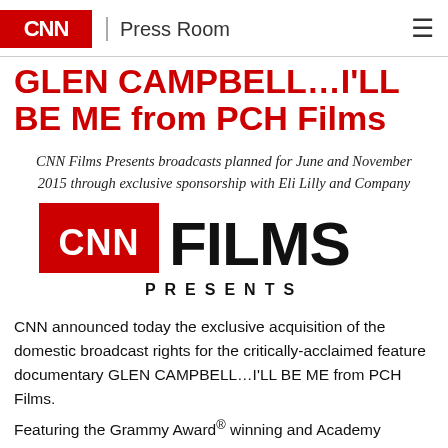CNN Press Room
GLEN CAMPBELL…I'LL BE ME from PCH Films
CNN Films Presents broadcasts planned for June and November 2015 through exclusive sponsorship with Eli Lilly and Company
[Figure (logo): CNN Films Presents logo — red CNN box with white CNN text, large black FILMS text, and PRESENTS in spaced lettering below]
CNN announced today the exclusive acquisition of the domestic broadcast rights for the critically-acclaimed feature documentary GLEN CAMPBELL…I'LL BE ME from PCH Films.
Featuring the Grammy Award® winning and Academy